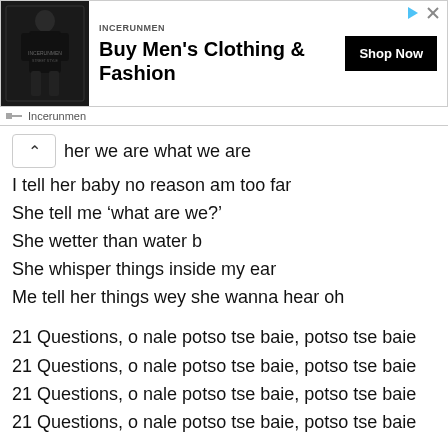[Figure (screenshot): Advertisement banner for Incerunmen men's clothing and fashion with a photo of a person in black outfit, brand logo, headline 'Buy Men's Clothing & Fashion', and a 'Shop Now' button.]
Incerunmen
her we are what we are
I tell her baby no reason am too far
She tell me ‘what are we?’
She wetter than water b
She whisper things inside my ear
Me tell her things wey she wanna hear oh
21 Questions, o nale potso tse baie, potso tse baie
21 Questions, o nale potso tse baie, potso tse baie
21 Questions, o nale potso tse baie, potso tse baie
21 Questions, o nale potso tse baie, potso tse baie
What are we?
Kare re di chomi